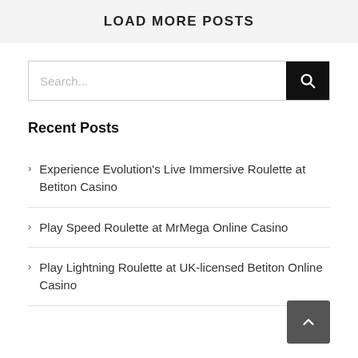LOAD MORE POSTS
[Figure (other): Search input box with black search button on the right]
Recent Posts
Experience Evolution's Live Immersive Roulette at Betiton Casino
Play Speed Roulette at MrMega Online Casino
Play Lightning Roulette at UK-licensed Betiton Online Casino